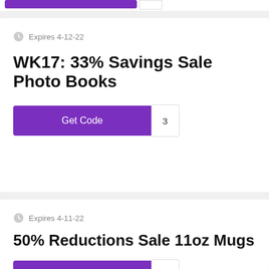Expires 4-12-22
WK17: 33% Savings Sale Photo Books
Get Code
Expires 4-11-22
50% Reductions Sale 11oz Mugs
Get Code